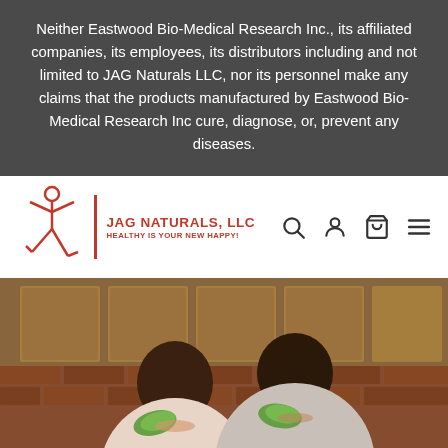Neither Eastwood Bio-Medical Research Inc., its affiliated companies, its employees, its distributors including and not limited to JAG Naturals LLC, nor its personnel make any claims that the products manufactured by Eastwood Bio-Medical Research Inc cure, diagnose, or, prevent any diseases.
[Figure (logo): JAG Naturals LLC logo with stick figure person, red vertical bar, brand name and tagline 'HEALTHY IS YOUR NEW HAPPY!' plus navigation icons for search, account, cart, and menu.]
[Figure (photo): A happy family of three — a mother, father, and young daughter — in a kitchen, holding pieces of green lettuce or food up to their faces, smiling and laughing. Warm brick wall and wooden cabinets in background.]